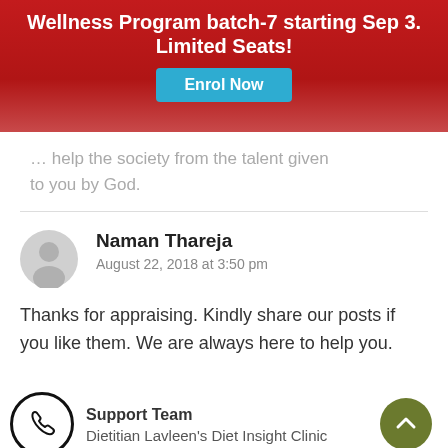Wellness Program batch-7 starting Sep 3. Limited Seats!
… help the society from the talent given to you by God.
Naman Thareja
August 22, 2018 at 3:50 pm
Thanks for appraising. Kindly share our posts if you like them. We are always here to help you.
Support Team
Dietitian Lavleen's Diet Insight Clinic